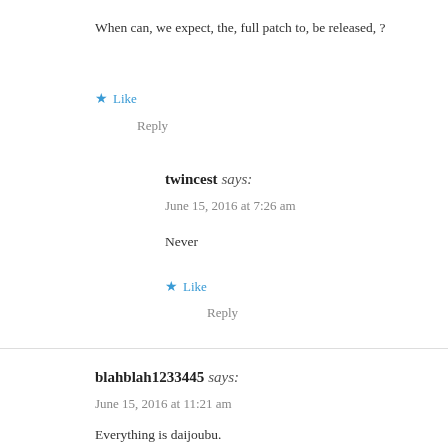When can, we expect, the, full patch to, be released, ?
★ Like
Reply
twincest says:
June 15, 2016 at 7:26 am
Never
★ Like
Reply
blahblah1233445 says:
June 15, 2016 at 11:21 am
Everything is daijoubu.